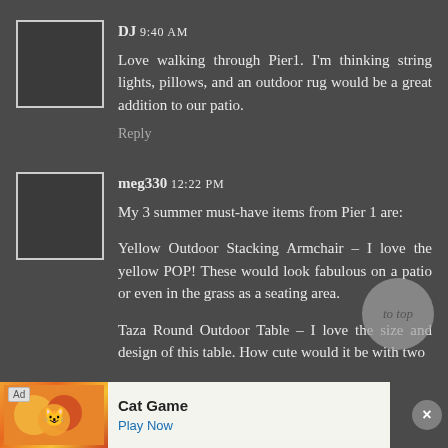[Figure (other): Avatar placeholder box for user DJ]
DJ 9:40 AM
Love walking through Pier1. I'm thinking string lights, pillows, and an outdoor rug would be a great addition to our patio.
Reply
[Figure (other): Avatar placeholder box for user meg330]
meg330 12:22 PM
My 3 summer must-have items from Pier 1 are:

Yellow Outdoor Stacking Armchair – I love the yellow POP! These would look fabulous on a patio or even in the grass as a seating area.

Taza Round Outdoor Table – I love the size and design of this table. How cute would it be with two
[Figure (other): To top circular button]
[Figure (other): Advertisement banner for Cat Game with Play Now CTA and close button]